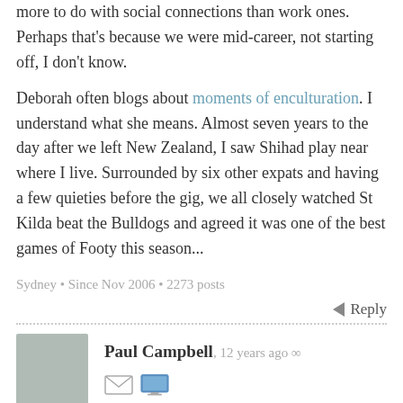more to do with social connections than work ones. Perhaps that's because we were mid-career, not starting off, I don't know.
Deborah often blogs about moments of enculturation. I understand what she means. Almost seven years to the day after we left New Zealand, I saw Shihad play near where I live. Surrounded by six other expats and having a few quieties before the gig, we all closely watched St Kilda beat the Bulldogs and agreed it was one of the best games of Footy this season...
Sydney • Since Nov 2006 • 2273 posts
Reply
Paul Campbell, 12 years ago ∞
I read PA (and Russell on usenet before that) while I lived overseas – for that connection to back home – on line news papers seemed to be hard to read – not enough context for a lot of stories (I did listen to